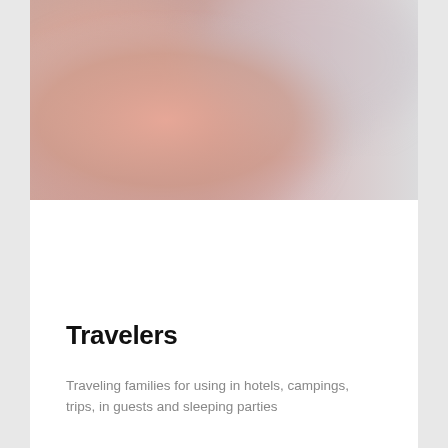[Figure (photo): Blurred gradient image with soft rose/salmon color on the left fading to light grey/white on the right, occupying the top portion of the page.]
Travelers
Traveling families for using in hotels, campings, trips, in guests and sleeping parties